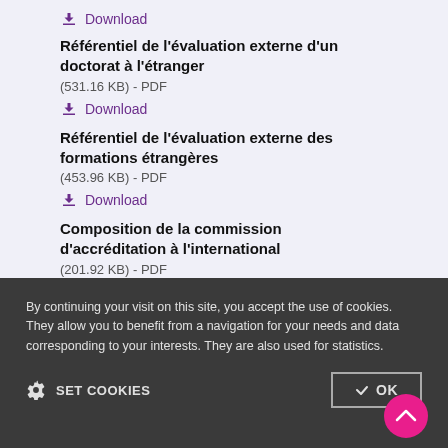Download
Référentiel de l'évaluation externe d'un doctorat à l'étranger
(531.16 KB) - PDF
Download
Référentiel de l'évaluation externe des formations étrangères
(453.96 KB) - PDF
Download
Composition de la commission d'accréditation à l'international
(201.92 KB) - PDF
By continuing your visit on this site, you accept the use of cookies. They allow you to benefit from a navigation for your needs and data corresponding to your interests. They are also used for statistics.
SET COOKIES
OK